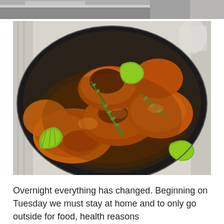[Figure (photo): Partial top strip of a cooking/kitchen photo showing a silver pot or pan edge]
[Figure (photo): Overhead photo of roasted chicken pieces in a large black skillet/pan, garnished with fresh tarragon/rosemary herbs and lime wedges, glistening with pan juices]
Overnight everything has changed. Beginning on Tuesday we must stay at home and to only go outside for food, health reasons